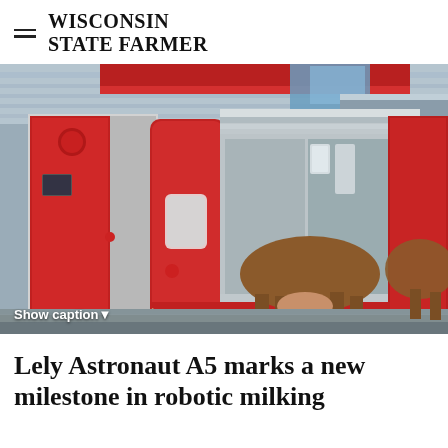WISCONSIN STATE FARMER
[Figure (photo): Lely Astronaut A5 robotic milking machine in a dairy barn. The machine has large red and gray panels. A cow stands inside the milking unit. A flexible tube runs along the floor. The facility has a modern interior with metal structures and a skylight visible.]
Show caption▼
Lely Astronaut A5 marks a new milestone in robotic milking